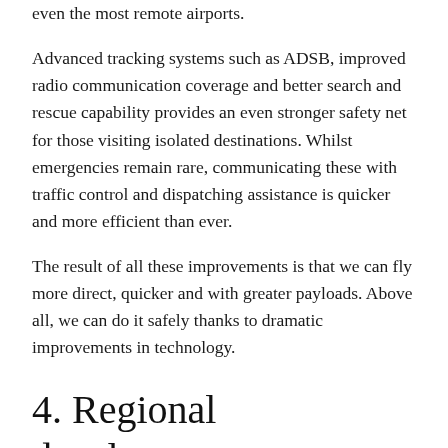even the most remote airports.
Advanced tracking systems such as ADSB, improved radio communication coverage and better search and rescue capability provides an even stronger safety net for those visiting isolated destinations. Whilst emergencies remain rare, communicating these with traffic control and dispatching assistance is quicker and more efficient than ever.
The result of all these improvements is that we can fly more direct, quicker and with greater payloads. Above all, we can do it safely thanks to dramatic improvements in technology.
4. Regional development
Successive state and federal governments have